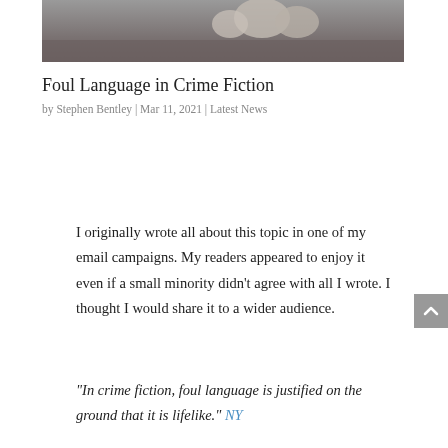[Figure (photo): Partial photo at top showing what appears to be stones or pebbles on a surface, in grayscale/muted tones. Cropped, showing only the bottom portion of the image.]
Foul Language in Crime Fiction
by Stephen Bentley | Mar 11, 2021 | Latest News
I originally wrote all about this topic in one of my email campaigns. My readers appeared to enjoy it even if a small minority didn't agree with all I wrote. I thought I would share it to a wider audience.
“In crime fiction, foul language is justified on the ground that it is lifelike.” NY